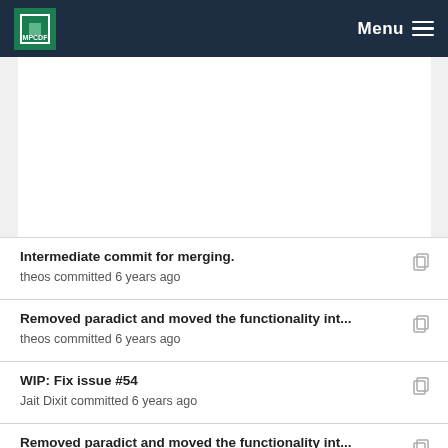MPCDF Menu
Intermediate commit for merging.
theos committed 6 years ago
Removed paradict and moved the functionality int...
theos committed 6 years ago
WIP: Fix issue #54
Jait Dixit committed 6 years ago
Removed paradict and moved the functionality int...
theos committed 6 years ago